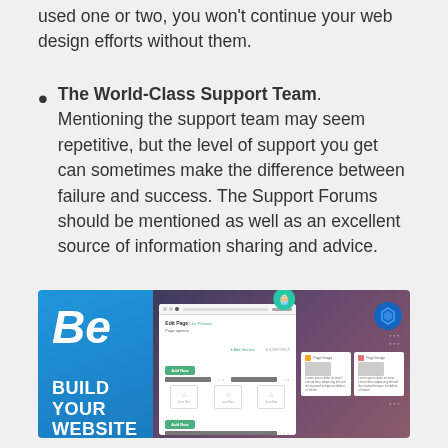used one or two, you won't continue your web design efforts without them.
The World-Class Support Team. Mentioning the support team may seem repetitive, but the level of support you get can sometimes make the difference between failure and success. The Support Forums should be mentioned as well as an excellent source of information sharing and advice.
[Figure (screenshot): Screenshot of a website builder interface showing 'Be' logo on blue panel with text 'BUILD YOUR WEBSITE EASILY' and a page editor mockup on a dark purple background]
...